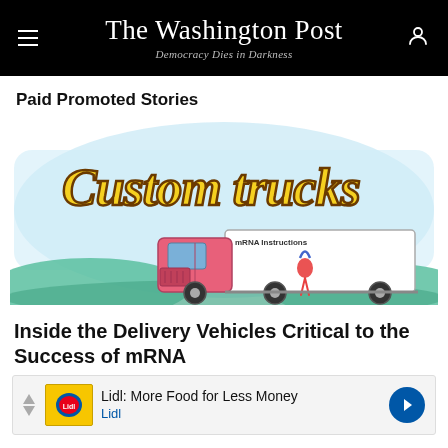The Washington Post — Democracy Dies in Darkness
Paid Promoted Stories
[Figure (illustration): Cartoon illustration of a pink delivery truck labeled 'mRNA Instructions' with text 'Custom Trucks' in large yellow stylized lettering above it, set against a light blue watercolor background with teal hills]
Inside the Delivery Vehicles Critical to the Success of mRNA
[Figure (other): Lidl advertisement banner: 'Lidl: More Food for Less Money' with Lidl logo and blue navigation arrow]